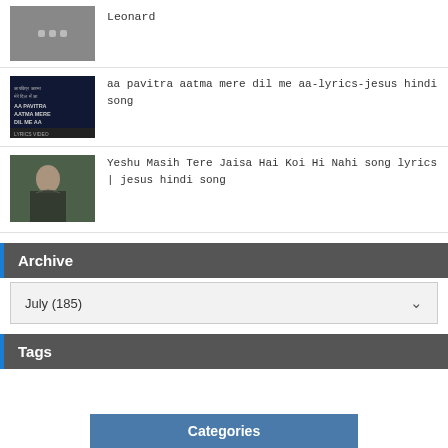[Figure (screenshot): Thumbnail with dots icon, gray background]
Leonard
[Figure (screenshot): Thumbnail for aa pavitra aatma song - dark blue background with Hindi text and lyrics video label]
aa pavitra aatma mere dil me aa-lyrics-jesus hindi song
[Figure (photo): Thumbnail for Yeshu Masih song - woman with dark hair outdoors]
Yeshu Masih Tere Jaisa Hai Koi Hi Nahi song lyrics | jesus hindi song
Archive
July (185)
Tags
Categories